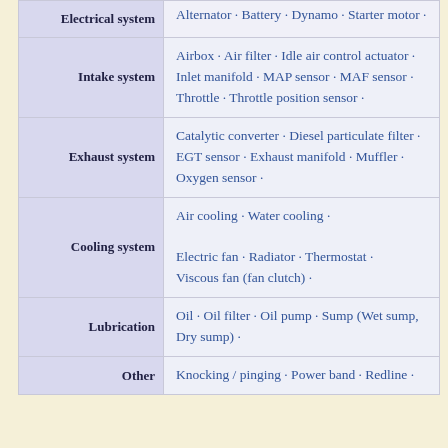| System | Components |
| --- | --- |
| Electrical system | Alternator · Battery · Dynamo · Starter motor · |
| Intake system | Airbox · Air filter · Idle air control actuator · Inlet manifold · MAP sensor · MAF sensor · Throttle · Throttle position sensor · |
| Exhaust system | Catalytic converter · Diesel particulate filter · EGT sensor · Exhaust manifold · Muffler · Oxygen sensor · |
| Cooling system | Air cooling · Water cooling · Electric fan · Radiator · Thermostat · Viscous fan (fan clutch) · |
| Lubrication | Oil · Oil filter · Oil pump · Sump (Wet sump, Dry sump) · |
| Other | Knocking / pinging · Power band · Redline · |